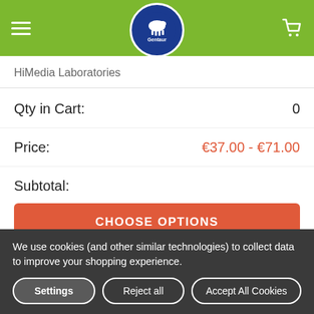Gentaur – navigation header with hamburger menu, Gentaur logo, and cart icon
HiMedia Laboratories
Qty in Cart: 0
Price: €37.00 – €71.00
Subtotal:
CHOOSE OPTIONS
Rose Multiplication Medium w/ Vitamins, Sucrose, 6-BAP, IAA & Agar w/ Vitamins, Sucrose, 6-BAP, IAA & Agar w/ Vitamins, Sucrose, 6-BAP, IAA & Agar w/ Vitami...
We use cookies (and other similar technologies) to collect data to improve your shopping experience.
Settings
Reject all
Accept All Cookies